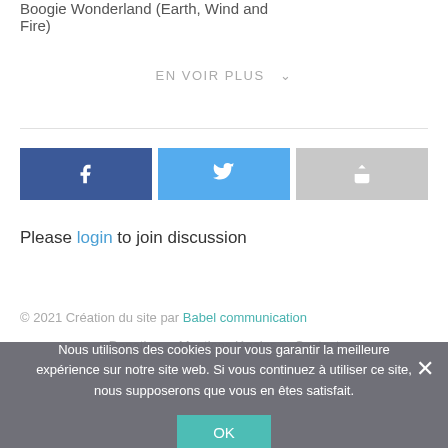Boogie Wonderland (Earth, Wind and Fire)
EN VOIR PLUS
[Figure (other): Social share buttons: Facebook (blue), Twitter (light blue), Share (gray)]
Please login to join discussion
© 2021 Création du site par Babel communication
Donation · Mentions légales · Contact
Nous utilisons des cookies pour vous garantir la meilleure expérience sur notre site web. Si vous continuez à utiliser ce site, nous supposerons que vous en êtes satisfait.
OK